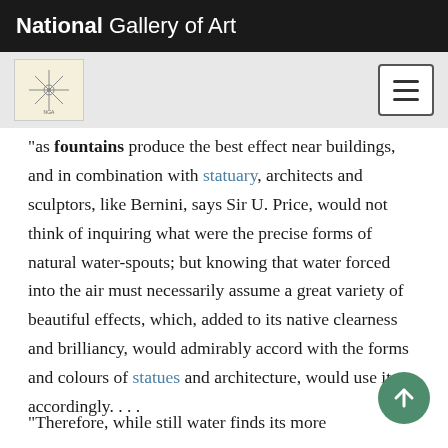National Gallery of Art
"as fountains produce the best effect near buildings, and in combination with statuary, architects and sculptors, like Bernini, says Sir U. Price, would not think of inquiring what were the precise forms of natural water-spouts; but knowing that water forced into the air must necessarily assume a great variety of beautiful effects, which, added to its native clearness and brilliancy, would admirably accord with the forms and colours of statues and architecture, would use it accordingly. . . .
"Therefore, while still water finds its more